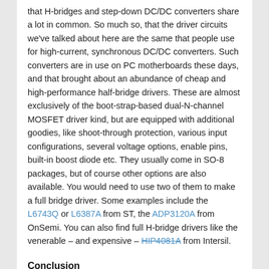that H-bridges and step-down DC/DC converters share a lot in common. So much so, that the driver circuits we've talked about here are the same that people use for high-current, synchronous DC/DC converters. Such converters are in use on PC motherboards these days, and that brought about an abundance of cheap and high-performance half-bridge drivers. These are almost exclusively of the boot-strap-based dual-N-channel MOSFET driver kind, but are equipped with additional goodies, like shoot-through protection, various input configurations, several voltage options, enable pins, built-in boost diode etc. They usually come in SO-8 packages, but of course other options are also available. You would need to use two of them to make a full bridge driver. Some examples include the L6743Q or L6387A from ST, the ADP3120A from OnSemi. You can also find full H-bridge drivers like the venerable – and expensive – HIP4081A from Intersil.
Conclusion
This was a loooong article I have to admit, but hopefully it